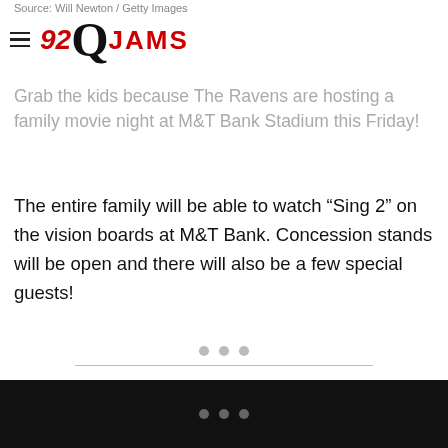Source: Will Newton / Getty Images
[Figure (logo): 92Q JAMS radio station logo with hamburger menu icon]
Grab the kids because The Ravens are hosting a family movie night at M&T Bank Stadium this Friday!
The entire family will be able to watch “Sing 2” on the vision boards at M&T Bank. Concession stands will be open and there will also be a few special guests!